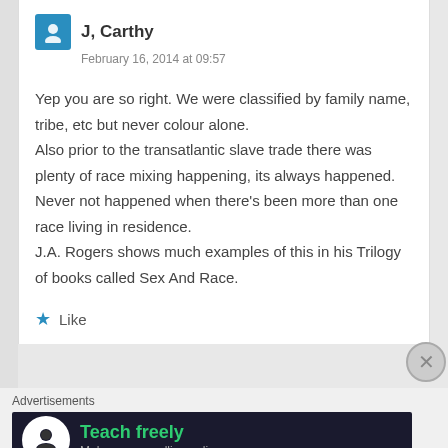J, Carthy
February 16, 2014 at 09:57
Yep you are so right. We were classified by family name, tribe, etc but never colour alone.
Also prior to the transatlantic slave trade there was plenty of race mixing happening, its always happened. Never not happened when there's been more than one race living in residence.
J.A. Rogers shows much examples of this in his Trilogy of books called Sex And Race.
Like
Advertisements
[Figure (infographic): Advertisement banner: dark background with white circle icon showing a person icon, green bold text 'Teach freely', grey subtext 'Make money selling online courses.']